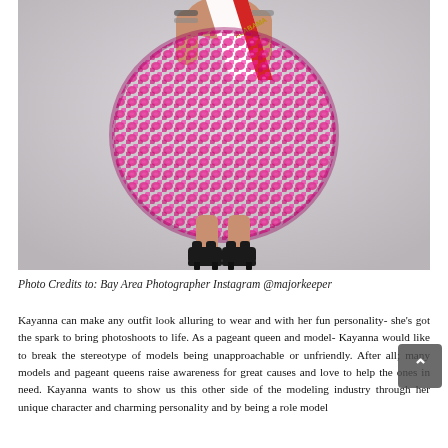[Figure (photo): A young woman in a bright pink rose-textured dress and a pageant sash, wearing black strappy sandals, photographed from approximately chest/neck down against a light gray background.]
Photo Credits to: Bay Area Photographer Instagram @majorkeeper
Kayanna can make any outfit look alluring to wear and with her fun personality- she's got the spark to bring photoshoots to life. As a pageant queen and model- Kayanna would like to break the stereotype of models being unapproachable or unfriendly. After all; many models and pageant queens raise awareness for great causes and love to help the ones in need. Kayanna wants to show us this other side of the modeling industry through her unique character and charming personality and by being a role model